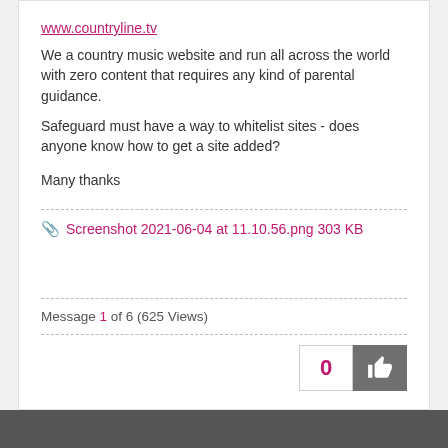www.countryline.tv
We a country music website and run all across the world with zero content that requires any kind of parental guidance.
Safeguard must have a way to whitelist sites - does anyone know how to get a site added?
Many thanks
Screenshot 2021-06-04 at 11.10.56.png 303 KB
Message 1 of 6 (625 Views)
[Figure (other): Kudos/like button showing count 0 with thumbs up icon]